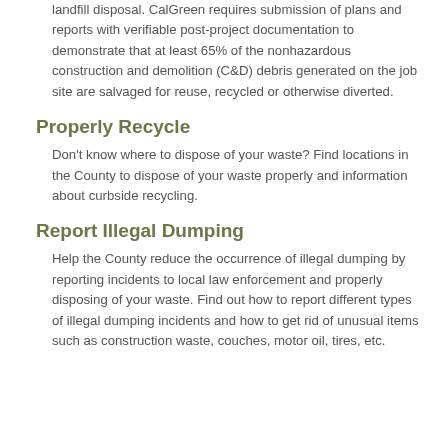landfill disposal. CalGreen requires submission of plans and reports with verifiable post-project documentation to demonstrate that at least 65% of the nonhazardous construction and demolition (C&D) debris generated on the job site are salvaged for reuse, recycled or otherwise diverted.
Properly Recycle
Don't know where to dispose of your waste? Find locations in the County to dispose of your waste properly and information about curbside recycling.
Report Illegal Dumping
Help the County reduce the occurrence of illegal dumping by reporting incidents to local law enforcement and properly disposing of your waste. Find out how to report different types of illegal dumping incidents and how to get rid of unusual items such as construction waste, couches, motor oil, tires, etc.